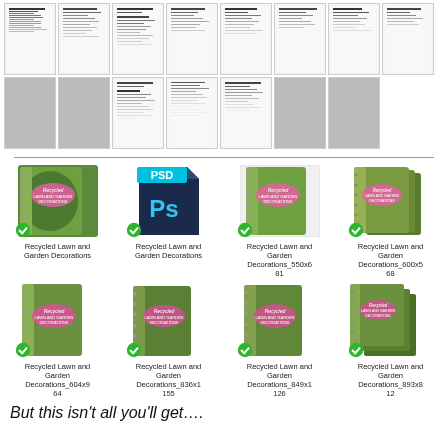[Figure (screenshot): Grid of document thumbnail previews showing text pages, some blank/gray]
[Figure (screenshot): Grid of 8 product items: book covers and PSD file icon for 'Recycled Lawn and Garden Decorations' with green checkmarks and filenames]
But this isn’t all you’ll get....